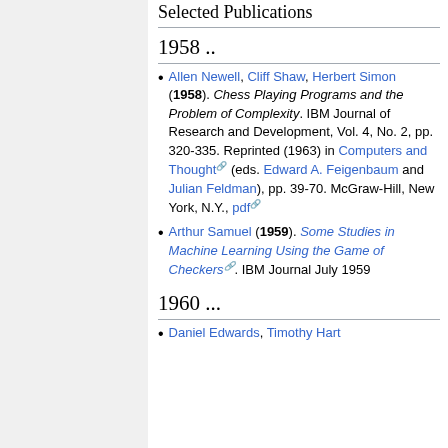Selected Publications
1958 ..
Allen Newell, Cliff Shaw, Herbert Simon (1958). Chess Playing Programs and the Problem of Complexity. IBM Journal of Research and Development, Vol. 4, No. 2, pp. 320-335. Reprinted (1963) in Computers and Thought (eds. Edward A. Feigenbaum and Julian Feldman), pp. 39-70. McGraw-Hill, New York, N.Y., pdf
Arthur Samuel (1959). Some Studies in Machine Learning Using the Game of Checkers. IBM Journal July 1959
1960 ...
Daniel Edwards, Timothy Hart...